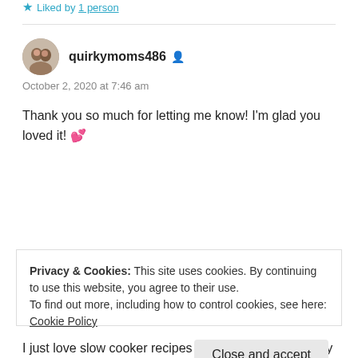Liked by 1 person
quirkymoms486
October 2, 2020 at 7:46 am
Thank you so much for letting me know! I'm glad you loved it! 💕
Like
[Figure (other): Red advertisement bar with REPORT THIS AD label]
Privacy & Cookies: This site uses cookies. By continuing to use this website, you agree to their use.
To find out more, including how to control cookies, see here: Cookie Policy
Close and accept
I just love slow cooker recipes 😀 and pasta is a family